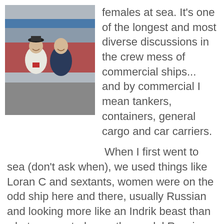[Figure (photo): Two women smiling in front of a large ship in dry dock. One wears a white uniform with a captain's hat, the other wears a dark navy polo shirt.]
females at sea. It's one of the longest and most diverse discussions in the crew mess of commercial ships... and by commercial I mean tankers, containers, general cargo and car carriers.
When I first went to sea (don't ask when), we used things like Loran C and sextants, women were on the odd ship here and there, usually Russian and looking more like an Indrik beast than what we see today as the model Russian girl.
They were hardy folk, she says, clearing her throat as she remembers being drunk under the table by